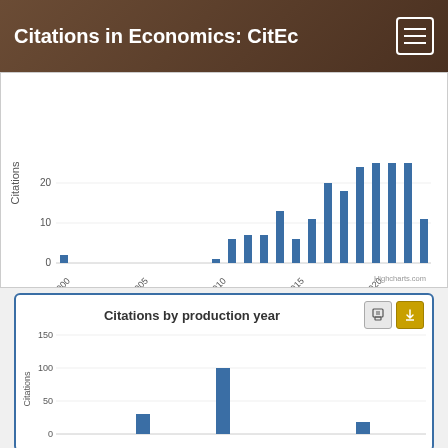Citations in Economics: CitEc
[Figure (bar-chart): Citations by year]
[Figure (bar-chart): Citations by production year]